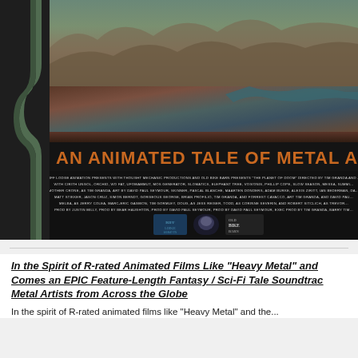[Figure (illustration): Movie poster for 'The Planet of Doom' - an animated feature. Top portion shows a dark fantasy landscape painting with mountains and atmospheric colors in blues, greens, and browns. Below the landscape is a large orange title text reading 'AN ANIMATED TALE OF METAL AN...' (truncated). Below that are multiple lines of film credits in small white text on black background. At the bottom are three production company logos. A decorative green border/snake design runs along the left side.]
In the Spirit of R-rated Animated Films Like “Heavy Metal” and Comes an EPIC Feature-Length Fantasy / Sci-Fi Tale Soundtrac Metal Artists from Across the Globe
In the spirit of R-rated animated films like “Heavy Metal” and the...